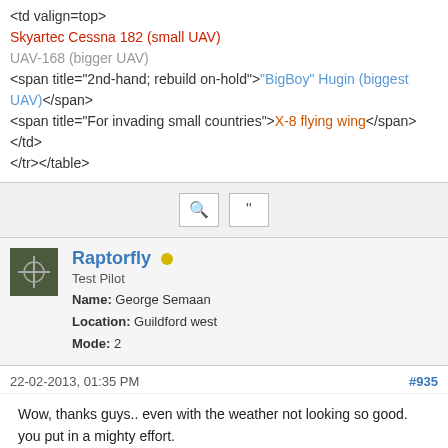<td valign=top>
Skyartec Cessna 182 (small UAV)
UAV-168 (bigger UAV)
<span title="2nd-hand; rebuild on-hold">"BigBoy" Hugin (biggest UAV)</span>
<span title="For invading small countries">X-8 flying wing</span>
</td>
</tr></table>
[Figure (screenshot): Action bar with search and quote buttons]
Raptorfly
Test Pilot
Name: George Semaan
Location: Guildford west
Mode: 2
22-02-2013, 01:35 PM
#935
Wow, thanks guys.. even with the weather not looking so good. you put in a mighty effort.
Without your dedication to our club, the some of us (The office bound) will not have a good field to fly off on the weekend.